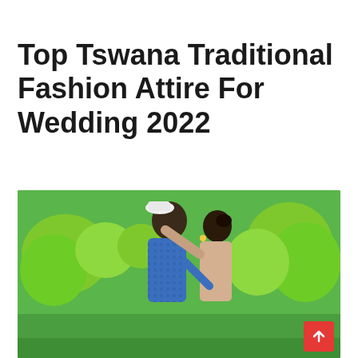Top Tswana Traditional Fashion Attire For Wedding 2022
[Figure (photo): A couple in traditional Tswana attire dancing outdoors in a garden with green trimmed bushes. The man wears a blue patterned shirt and the woman wears a light dress. There is a red scroll-to-top button in the bottom right corner.]